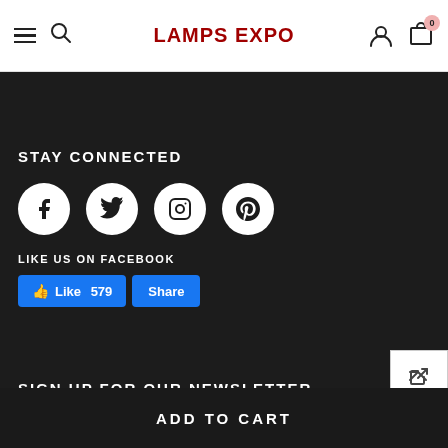LAMPS EXPO
ADVICE & IDEAS
STAY CONNECTED
[Figure (other): Social media icons: Facebook, Twitter, Instagram, Pinterest as white circles on dark background]
LIKE US ON FACEBOOK
Like 579  Share
SIGN UP FOR OUR NEWSLETTER
enter your email address
SUBMIT
ADD TO CART